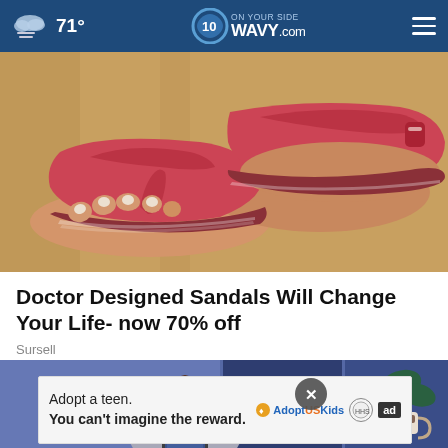71° | WAVY.com ON YOUR SIDE
[Figure (photo): Close-up photo of feet wearing pink/red doctor-designed orthopedic sandals on a woven mat background]
Doctor Designed Sandals Will Change Your Life- now 70% off
Sursell
[Figure (illustration): Cartoon illustration of a young teen boy sitting in a dark room, appearing to be looking at a device, with a plant and coffee cup visible in the background]
Adopt a teen. You can't imagine the reward. AdoptUSKids ad